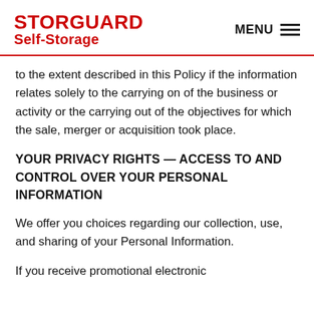STORGUARD Self-Storage | MENU
to the extent described in this Policy if the information relates solely to the carrying on of the business or activity or the carrying out of the objectives for which the sale, merger or acquisition took place.
YOUR PRIVACY RIGHTS — ACCESS TO AND CONTROL OVER YOUR PERSONAL INFORMATION
We offer you choices regarding our collection, use, and sharing of your Personal Information.
If you receive promotional electronic